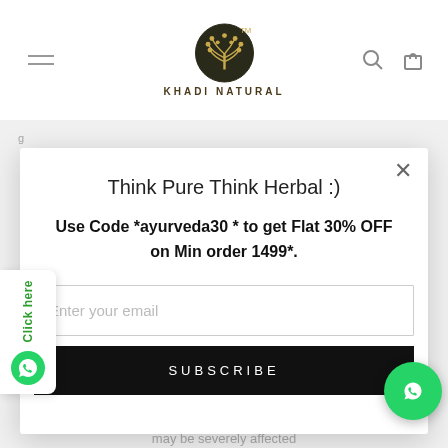[Figure (logo): Khadi Natural logo — circular tree emblem with 'KHADI NATURAL' text below]
Think Pure Think Herbal :)
Use Code *ayurveda30 * to get Flat 30% OFF on Min order 1499*.
Enter your email
SUBSCRIBE
may be severely affected
[Figure (illustration): WhatsApp floating chat button (green circle with phone icon)]
[Figure (illustration): Side widget with 'Click here' text and WhatsApp icon]